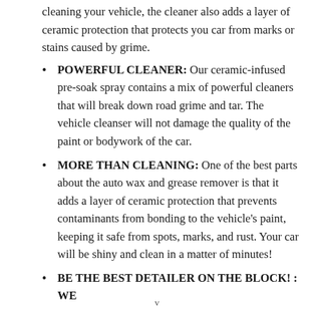cleaning your vehicle, the cleaner also adds a layer of ceramic protection that protects you car from marks or stains caused by grime.
POWERFUL CLEANER: Our ceramic-infused pre-soak spray contains a mix of powerful cleaners that will break down road grime and tar. The vehicle cleanser will not damage the quality of the paint or bodywork of the car.
MORE THAN CLEANING: One of the best parts about the auto wax and grease remover is that it adds a layer of ceramic protection that prevents contaminants from bonding to the vehicle's paint, keeping it safe from spots, marks, and rust. Your car will be shiny and clean in a matter of minutes!
BE THE BEST DETAILER ON THE BLOCK! : WE
v